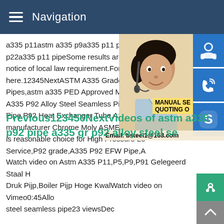Navigation
a335 p11astm a335 p9a335 p11 pipe spe p22a335 p11 pipeSome results are remov notice of local law requirement.For more i here.12345NextASTM A335 Grade P92 Al Pipes,astm a335 PED Approved Manufact A335 P92 Alloy Steel Seamless Pipe,P92 Pipe,P92 Heat Exchanger Tube,ASTM A3 manufacturer Chrome Moly ASME SA 335 is reasonable choice for High Pressure Lo Service,P92 grade,A335 P92 EFW Pipe,A
[Figure (photo): Woman with headset smiling, customer service representative photo]
[Figure (infographic): Contact icons: customer support, phone/wifi call, Skype; Manual Service and Quoting overlay; Email: bsteel1@163.com]
Previous123456NextVideos of astm a335 p92 pipe a335 gr p92 alloy steel se
Watch video on Astm A335 P11,P5,P9,P91 Gelegeerd Staal H Druk Pijp,Boiler Pijp Hoge KwalWatch video on Vimeo0:45Allo steel seamless pipe23 viewsDec